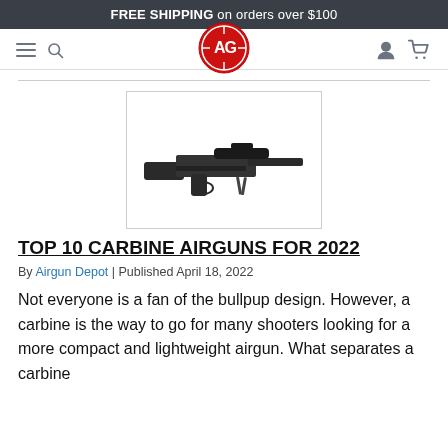FREE SHIPPING on orders over $100
[Figure (logo): AG Airgun Depot logo - red circular emblem with AG initials]
[Figure (photo): Photo of a black carbine airgun, compact bullpup-style rifle with scope, shown in a bordered box]
TOP 10 CARBINE AIRGUNS FOR 2022
By Airgun Depot | Published April 18, 2022
Not everyone is a fan of the bullpup design. However, a carbine is the way to go for many shooters looking for a more compact and lightweight airgun. What separates a carbine